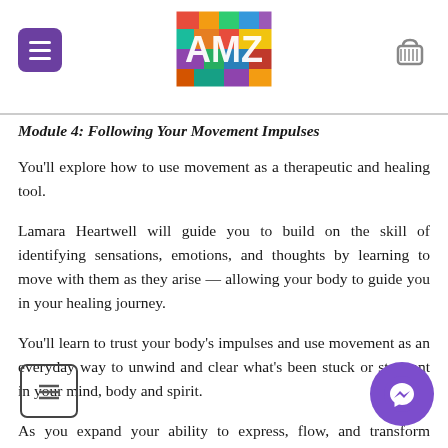AMZ logo header with navigation
Module 4: Following Your Movement Impulses
You'll explore how to use movement as a therapeutic and healing tool.
Lamara Heartwell will guide you to build on the skill of identifying sensations, emotions, and thoughts by learning to move with them as they arise — allowing your body to guide you in your healing journey.
You'll learn to trust your body's impulses and use movement as an everyday way to unwind and clear what's been stuck or stagnant in your mind, body and spirit.
As you expand your ability to express, flow, and transform through movement, you'll address physical pain, emotional